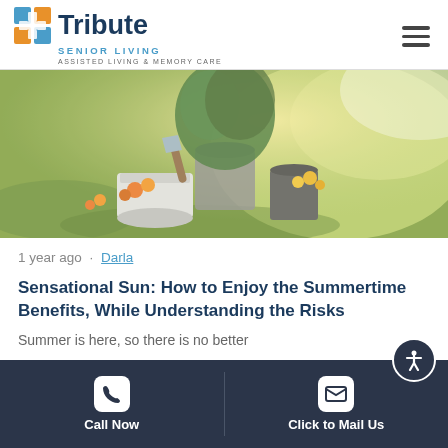[Figure (logo): Tribute Senior Living logo with colorful grid icon, dark navy 'Tribute' text, teal 'SENIOR LIVING' subtitle, and 'ASSISTED LIVING & MEMORY CARE' tagline]
[Figure (photo): Outdoor garden scene with a bucket, gardening trowel, potted plant with yellow and orange flowers on green grass in sunlight]
1 year ago · Darla
Sensational Sun: How to Enjoy the Summertime Benefits, While Understanding the Risks
Summer is here, so there is no better
Call Now | Click to Mail Us